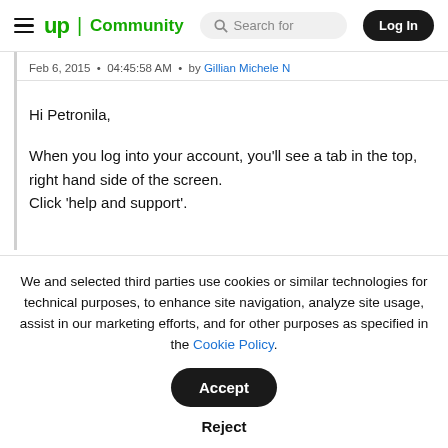up | Community   Search for   Log In
Feb 6, 2015  •  04:45:58 AM  •  by Gillian Michele N
Hi Petronila,

When you log into your account, you'll see a tab in the top, right hand side of the screen.
Click 'help and support'.
We and selected third parties use cookies or similar technologies for technical purposes, to enhance site navigation, analyze site usage, assist in our marketing efforts, and for other purposes as specified in the Cookie Policy.

Accept
Reject